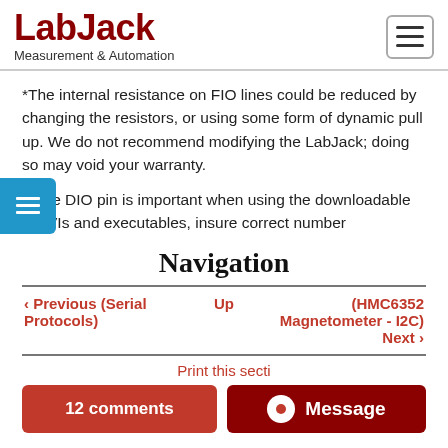LabJack Measurement & Automation
*The internal resistance on FIO lines could be reduced by changing the resistors, or using some form of dynamic pull up. We do not recommend modifying the LabJack; doing so may void your warranty.
**The DIO pin is important when using the downloadable subVIs and executables, insure correct number
Navigation
‹ Previous (Serial Protocols)   Up   (HMC6352 Magnetometer - I2C) Next ›
Print this secti
12 comments   Message